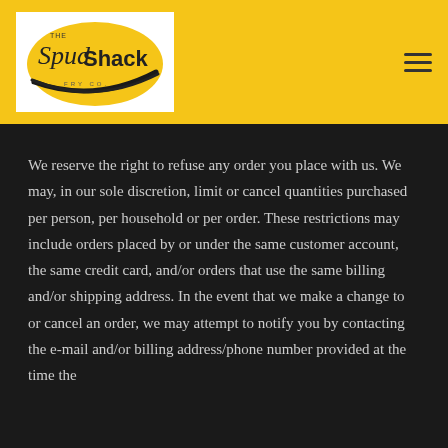[Figure (logo): The Spud Shack Fry Co. logo — white rectangular background with a yellow oval containing stylized text 'The Spud Shack Fry Co.' with a black arc/swoosh beneath]
We reserve the right to refuse any order you place with us. We may, in our sole discretion, limit or cancel quantities purchased per person, per household or per order. These restrictions may include orders placed by or under the same customer account, the same credit card, and/or orders that use the same billing and/or shipping address. In the event that we make a change to or cancel an order, we may attempt to notify you by contacting the e-mail and/or billing address/phone number provided at the time the